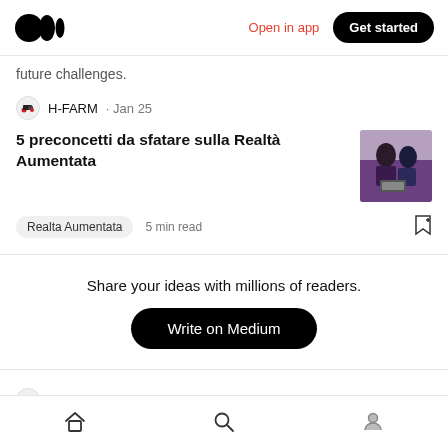Medium — Open in app | Get started
future challenges.
H-FARM · Jan 25
5 preconcetti da sfatare sulla Realtà Aumentata
Realta Aumentata   5 min read
Share your ideas with millions of readers.
Write on Medium
H-FARM · Jan 18
Home | Search | Profile